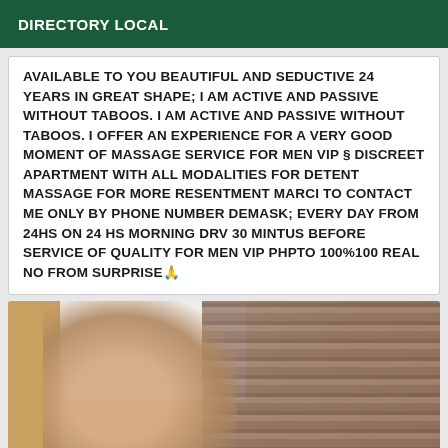DIRECTORY LOCAL
AVAILABLE TO YOU BEAUTIFUL AND SEDUCTIVE 24 YEARS IN GREAT SHAPE; I AM ACTIVE AND PASSIVE WITHOUT TABOOS. I AM ACTIVE AND PASSIVE WITHOUT TABOOS. I OFFER AN EXPERIENCE FOR A VERY GOOD MOMENT OF MASSAGE SERVICE FOR MEN VIP § DISCREET APARTMENT WITH ALL MODALITIES FOR DETENT MASSAGE FOR MORE RESENTMENT MARCI TO CONTACT ME ONLY BY PHONE NUMBER DEMASK; EVERY DAY FROM 24HS ON 24 HS MORNING DRV 30 MINTUS BEFORE SERVICE OF QUALITY FOR MEN VIP PHPTO 100%100 REAL NO FROM SURPRISE🙏
[Figure (photo): Partial view of a person in a room with wooden blinds visible on the right side and a wooden frame/mirror on the left.]